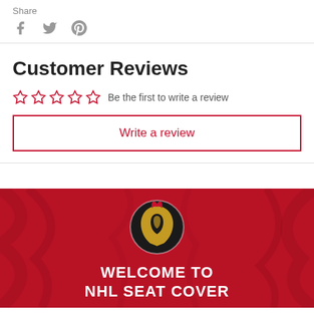Share
[Figure (illustration): Social share icons: Facebook (f), Twitter (bird), Pinterest (p) in gray]
Customer Reviews
☆☆☆☆☆  Be the first to write a review
Write a review
[Figure (illustration): Red banner with Ottawa Senators NHL logo and text WELCOME TO NHL SEAT COVER]